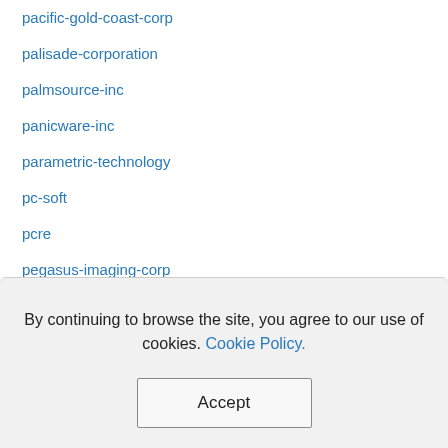pacific-gold-coast-corp
palisade-corporation
palmsource-inc
panicware-inc
parametric-technology
pc-soft
pcre
pegasus-imaging-corp
perle-systems-ltd
By continuing to browse the site, you agree to our use of cookies. Cookie Policy.
Accept